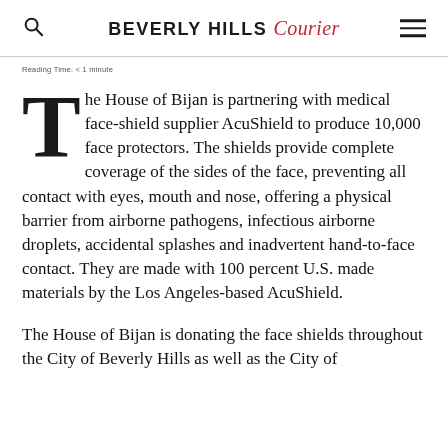BEVERLY HILLS Courier
Reading Time: < 1 minute
The House of Bijan is partnering with medical face-shield supplier AcuShield to produce 10,000 face protectors. The shields provide complete coverage of the sides of the face, preventing all contact with eyes, mouth and nose, offering a physical barrier from airborne pathogens, infectious airborne droplets, accidental splashes and inadvertent hand-to-face contact. They are made with 100 percent U.S. made materials by the Los Angeles-based AcuShield.
The House of Bijan is donating the face shields throughout the City of Beverly Hills as well as the City of